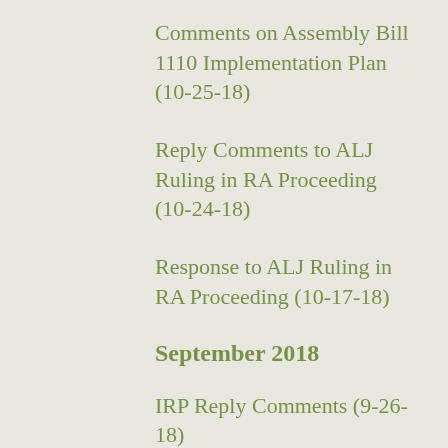Comments on Assembly Bill 1110 Implementation Plan (10-25-18)
Reply Comments to ALJ Ruling in RA Proceeding (10-24-18)
Response to ALJ Ruling in RA Proceeding (10-17-18)
September 2018
IRP Reply Comments (9-26-18)
Comments in RA Proceeding (9-14-18)
Reply Comments in PCIA Proceeding (9-12-18)